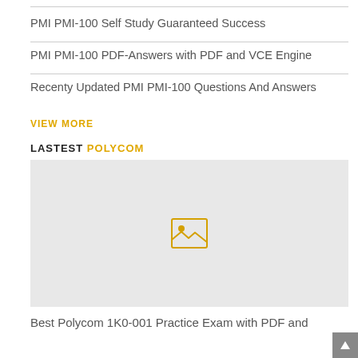PMI PMI-100 Self Study Guaranteed Success
PMI PMI-100 PDF-Answers with PDF and VCE Engine
Recenty Updated PMI PMI-100 Questions And Answers
VIEW MORE
LASTEST POLYCOM
[Figure (illustration): Placeholder image with a yellow image icon on a light gray background]
Best Polycom 1K0-001 Practice Exam with PDF and